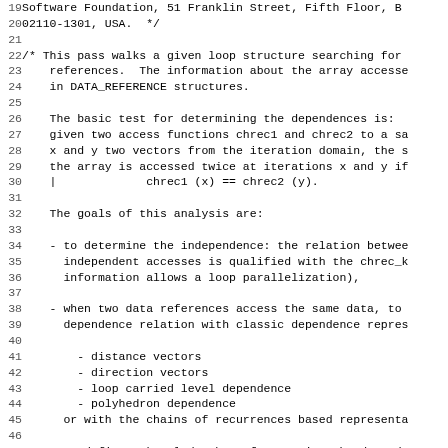19  Software Foundation, 51 Franklin Street, Fifth Floor, B
20  02110-1301, USA.  */
21
22  /* This pass walks a given loop structure searching for
23      references.  The information about the array accesse
24      in DATA_REFERENCE structures.
25
26      The basic test for determining the dependences is:
27      given two access functions chrec1 and chrec2 to a sa
28      x and y two vectors from the iteration domain, the s
29      the array is accessed twice at iterations x and y if
30      |             chrec1 (x) == chrec2 (y).
31
32      The goals of this analysis are:
33
34      - to determine the independence: the relation betwee
35        independent accesses is qualified with the chrec_k
36        information allows a loop parallelization),
37
38      - when two data references access the same data, to
39        dependence relation with classic dependence repres
40
41          - distance vectors
42          - direction vectors
43          - loop carried level dependence
44          - polyhedron dependence
45        or with the chains of recurrences based representa
46
47      - to define a knowledge base for storing the data de
48        information,
49
50      - to define an interface to access this data.